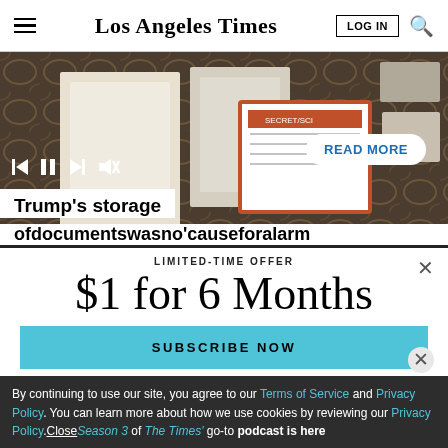Los Angeles Times
[Figure (screenshot): Video player showing documents on a table with media controls overlaid and a READ MORE button. Article title visible: Trump's storage of documents was no cause for alarm]
Trump's storage of documents was no cause for alarm
LIMITED-TIME OFFER
$1 for 6 Months
SUBSCRIBE NOW
By continuing to use our site, you agree to our Terms of Service and Privacy Policy. You can learn more about how we use cookies by reviewing our Privacy Policy. Close
Season 3 of The Times' go-to podcast is here